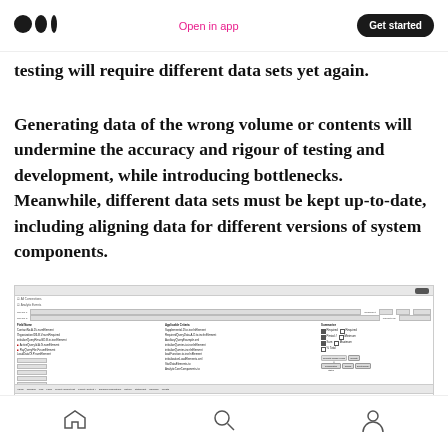Medium — Open in app | Get started
testing will require different data sets yet again.
Generating data of the wrong volume or contents will undermine the accuracy and rigour of testing and development, while introducing bottlenecks. Meanwhile, different data sets must be kept up-to-date, including aligning data for different versions of system components.
[Figure (screenshot): Screenshot of a software application interface showing configuration panels with input fields, checkboxes, and navigation tabs at the bottom.]
Home | Search | Profile navigation icons